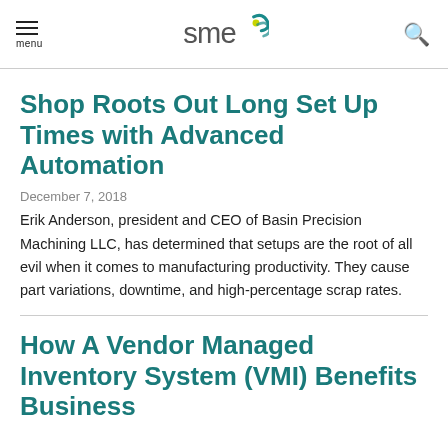menu | SME | search
Shop Roots Out Long Set Up Times with Advanced Automation
December 7, 2018
Erik Anderson, president and CEO of Basin Precision Machining LLC, has determined that setups are the root of all evil when it comes to manufacturing productivity. They cause part variations, downtime, and high-percentage scrap rates.
How A Vendor Managed Inventory System (VMI) Benefits Business